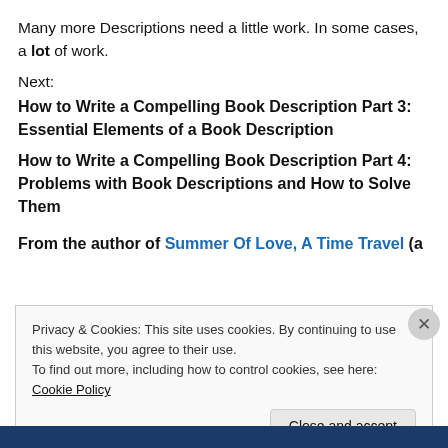Many more Descriptions need a little work. In some cases, a lot of work.
Next:
How to Write a Compelling Book Description Part 3: Essential Elements of a Book Description
How to Write a Compelling Book Description Part 4: Problems with Book Descriptions and How to Solve Them
From the author of Summer Of Love, A Time Travel (a
Privacy & Cookies: This site uses cookies. By continuing to use this website, you agree to their use.
To find out more, including how to control cookies, see here: Cookie Policy
Close and accept